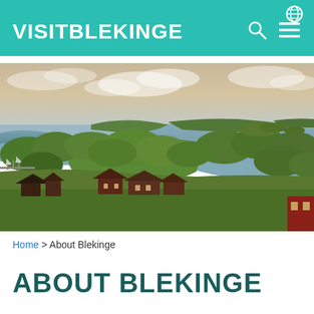VISITBLEKINGE
[Figure (photo): Aerial view of Blekinge archipelago showing islands, forested areas, a marina with sailboats, red traditional Swedish buildings, and calm sea water under a partly cloudy sky.]
Home > About Blekinge
ABOUT BLEKINGE